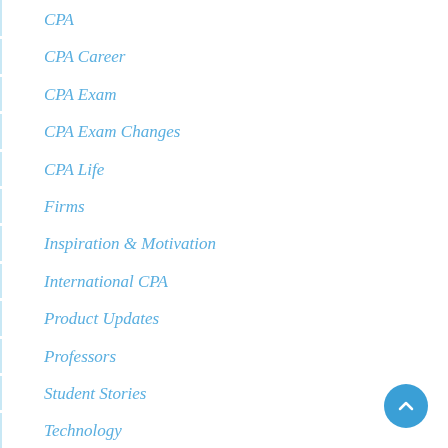CPA
CPA Career
CPA Exam
CPA Exam Changes
CPA Life
Firms
Inspiration & Motivation
International CPA
Product Updates
Professors
Student Stories
Technology
Tips & Tricks